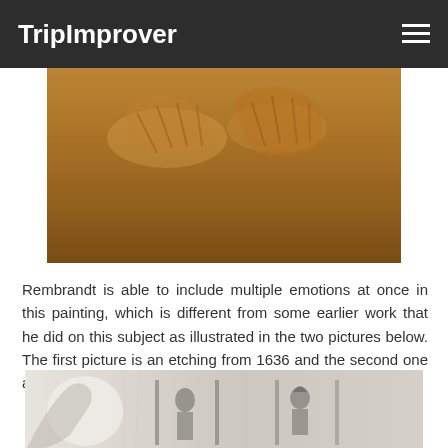TripImprover
[Figure (photo): Close-up of a Rembrandt painting showing hands, warm brown and ochre tones]
Rembrandt is able to include multiple emotions at once in this painting, which is different from some earlier work that he did on this subject as illustrated in the two pictures below. The first picture is an etching from 1636 and the second one a drawing from 1642.
[Figure (photo): Rembrandt etching from 1636 showing figures in an architectural setting, black and white line art]